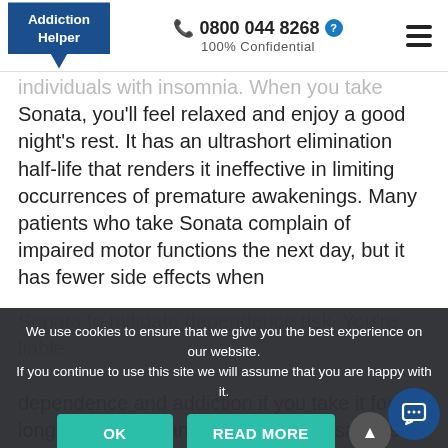Addiction Helper | 📞 0800 044 8268 ? | 100% Confidential
individuals with insomnia. When you take Sonata, you'll feel relaxed and enjoy a good night's rest. It has an ultrashort elimination half-life that renders it ineffective in limiting occurrences of premature awakenings. Many patients who take Sonata complain of impaired motor functions the next day, but it has fewer side effects when
We use cookies to ensure that we give you the best experience on our website. If you continue to use this site we will assume that you are happy with it.
dependence and addiction if you take it for longer periods than prescribed. For safe use, inform your doctor if you have any mental health issues, medical conditions or history of substance use disorder.